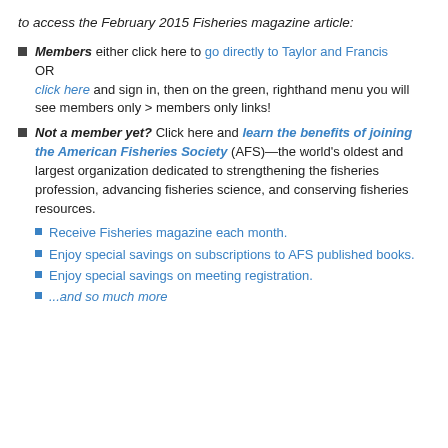to access the February 2015 Fisheries magazine article:
Members either click here to go directly to Taylor and Francis OR click here and sign in, then on the green, righthand menu you will see members only > members only links!
Not a member yet? Click here and learn the benefits of joining the American Fisheries Society (AFS)—the world's oldest and largest organization dedicated to strengthening the fisheries profession, advancing fisheries science, and conserving fisheries resources.
Receive Fisheries magazine each month.
Enjoy special savings on subscriptions to AFS published books.
Enjoy special savings on meeting registration.
...and so much more